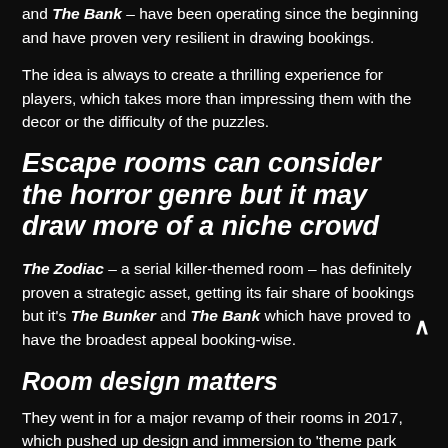and The Bank – have been operating since the beginning and have proven very resilient in drawing bookings.
The idea is always to create a thrilling experience for players, which takes more than impressing them with the decor or the difficulty of the puzzles.
Escape rooms can consider the horror genre but it may draw more of a niche crowd
The Zodiac – a serial killer-themed room – has definitely proven a strategic asset, getting its fair share of bookings but it's The Bunker and The Bank which have proved to have the broadest appeal booking-wise.
Room design matters
They went in for a major revamp of their rooms in 2017, which pushed up design and immersion to 'theme park level' and have proven instrumental in boosting popularity and user (player) experience.